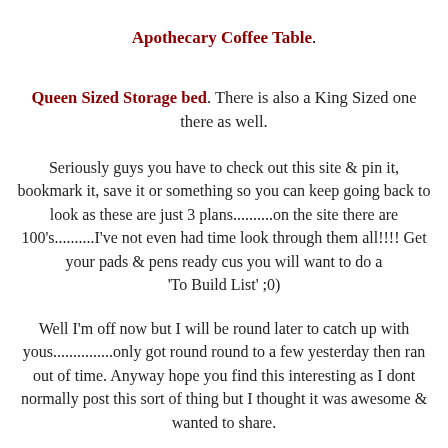Apothecary Coffee Table.
Queen Sized Storage bed. There is also a King Sized one there as well.
Seriously guys you have to check out this site & pin it, bookmark it, save it or something so you can keep going back to look as these are just 3 plans..........on the site there are 100's..........I've not even had time look through them all!!!! Get your pads & pens ready cus you will want to do a 'To Build List' ;0)
Well I'm off now but I will be round later to catch up with yous...............only got round round to a few yesterday then ran out of time. Anyway hope you find this interesting as I dont normally post this sort of thing but I thought it was awesome & wanted to share.
Tatty bye peens, thanks sooooooooo much for your